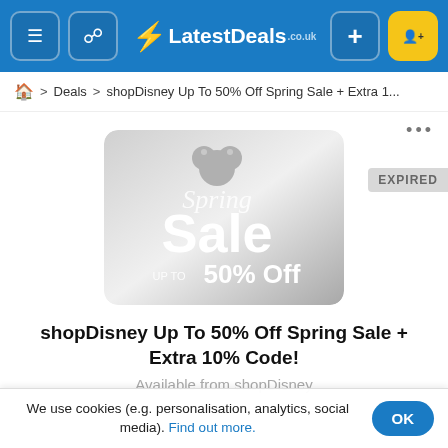LatestDeals.co.uk navigation bar
Deals > shopDisney Up To 50% Off Spring Sale + Extra 1...
[Figure (screenshot): shopDisney Spring Sale promotional banner showing 'Spring Sale UP TO 50% Off' text on a silver/grey gradient background with Mickey Mouse ears icon. An 'EXPIRED' badge overlays the right side.]
shopDisney Up To 50% Off Spring Sale + Extra 10% Code!
Available from shopDisney
We use cookies (e.g. personalisation, analytics, social media). Find out more.